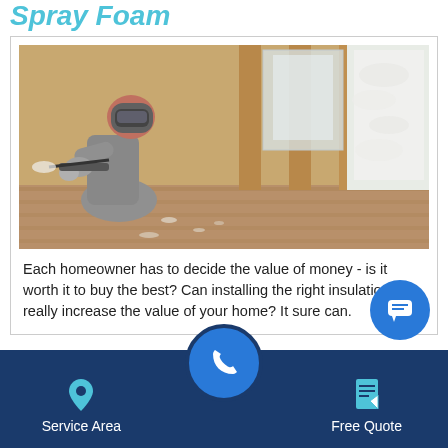Spray Foam
[Figure (photo): Worker in protective gear applying spray foam insulation to wall framing inside a building under construction]
Each homeowner has to decide the value of money - is it worth it to buy the best? Can installing the right insulation really increase the value of your home? It sure can.
We know how the saying goes: "You get what you pay for." But you ultimately choose where to place your
Service Area
Free Quote